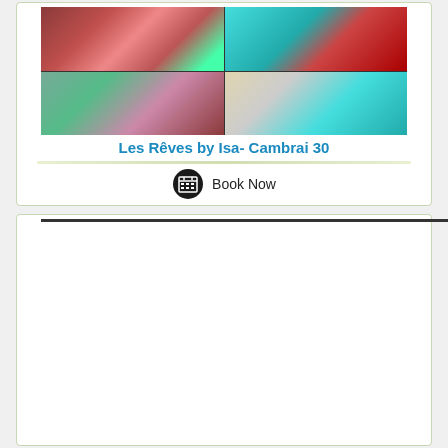[Figure (photo): Collage of apartment interior photos showing red and teal armchairs, living room, and dining area]
Les Rêves by Isa- Cambrai 30
[Figure (other): Book Now button with calendar icon]
[Figure (photo): Collage of apartment/studio interior photos with camera and location pin overlay icons]